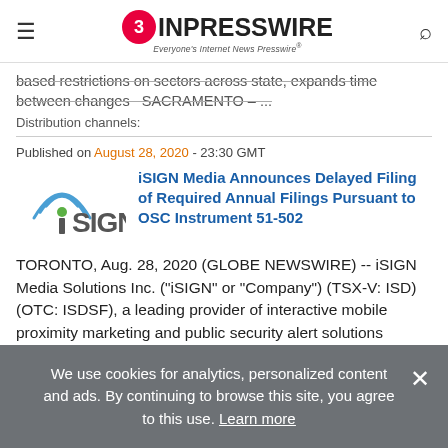EIN PRESSWIRE — Everyone's Internet News Presswire
based restrictions on sectors across state, expands time between changes   SACRAMENTO – ...
Distribution channels:
Published on August 28, 2020 - 23:30 GMT
[Figure (logo): iSIGN logo with wifi signal arcs over the i]
iSIGN Media Announces Delayed Filing of Required Annual Filings Pursuant to OSC Instrument 51-502
TORONTO, Aug. 28, 2020 (GLOBE NEWSWIRE) -- iSIGN Media Solutions Inc. ("iSIGN" or "Company") (TSX-V: ISD) (OTC: ISDSF), a leading provider of interactive mobile proximity marketing and public security alert solutions announced in accordance with Ontario ...
We use cookies for analytics, personalized content and ads. By continuing to browse this site, you agree to this use. Learn more